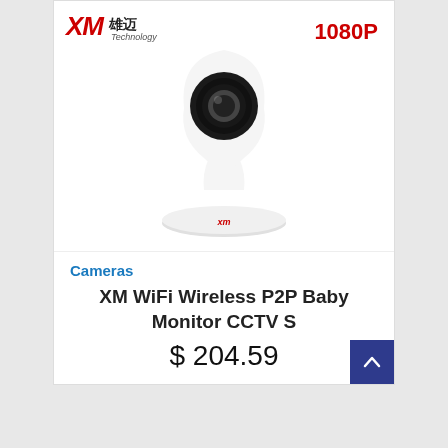[Figure (photo): XM brand WiFi wireless IP camera product image with teardrop-shaped white body, black lens, and XM logo on the base. XM Technology logo in top-left corner and '1080P' badge in red in the top-right corner.]
Cameras
XM WiFi Wireless P2P Baby Monitor CCTV S
$ 204.59